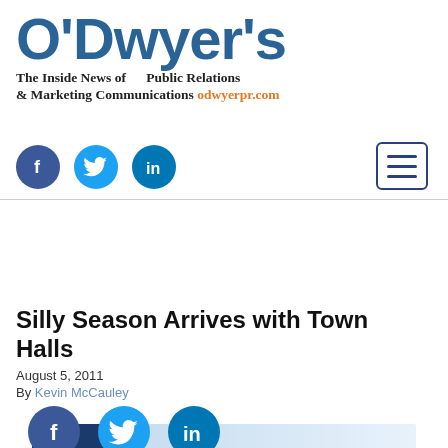[Figure (logo): O'Dwyer's logo with tagline 'The Inside News of Public Relations & Marketing Communications' and website odwyerpr.com]
[Figure (infographic): Social media icons: Facebook, Twitter, LinkedIn circles in header, and hamburger menu button]
[Figure (infographic): Banner advertisement: List Your Firm in O'Dwyer's]
Silly Season Arrives with Town Halls
August 5, 2011
By Kevin McCauley
[Figure (infographic): Social media share icons: Facebook, Twitter, LinkedIn circles at bottom of article]